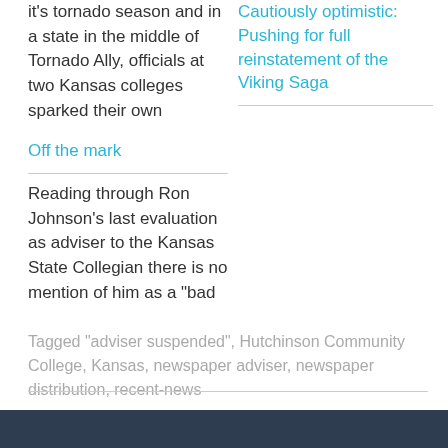it's tornado season and in a state in the middle of Tornado Ally, officials at two Kansas colleges sparked their own
Cautiously optimistic: Pushing for full reinstatement of the Viking Saga
Off the mark
Reading through Ron Johnson's last evaluation as adviser to the Kansas State Collegian there is no mention of him as a "bad
Tagged "adviser suspended", Hutchinson Community College, Kansas, newspaper adviser, newspaper distribution, recent-news